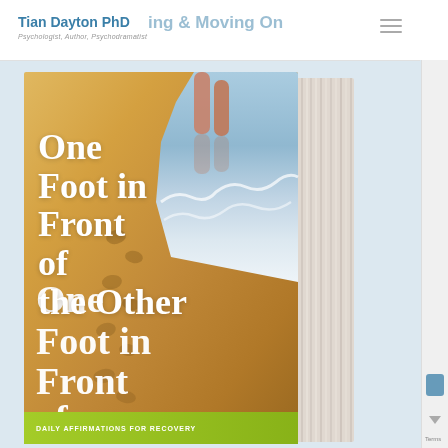Tian Dayton PhD
Psychologist, Author, Psychodramatist
[Figure (photo): Book cover of 'One Foot in Front of the Other: Daily Affirmations for Recovery' by Tian Dayton PhD, showing footprints in sand on a beach with ocean waves, displayed as a 3D book with visible spine pages]